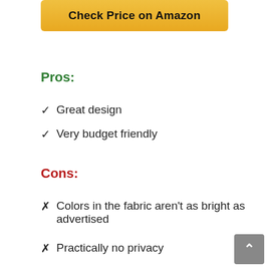[Figure (other): Amazon 'Check Price on Amazon' button, gold/yellow background]
Pros:
Great design
Very budget friendly
Cons:
Colors in the fabric aren't as bright as advertised
Practically no privacy
Floral Leaf Plants Design.
The iDesign Leaves shower curtain features soil-resistant fabric, an anti-mildew